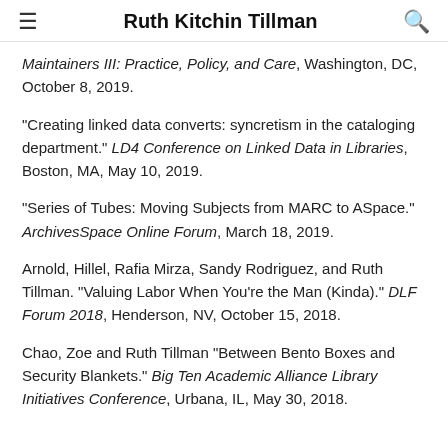Ruth Kitchin Tillman
Maintainers III: Practice, Policy, and Care, Washington, DC, October 8, 2019.
"Creating linked data converts: syncretism in the cataloging department." LD4 Conference on Linked Data in Libraries, Boston, MA, May 10, 2019.
"Series of Tubes: Moving Subjects from MARC to ASpace." ArchivesSpace Online Forum, March 18, 2019.
Arnold, Hillel, Rafia Mirza, Sandy Rodriguez, and Ruth Tillman. "Valuing Labor When You're the Man (Kinda)." DLF Forum 2018, Henderson, NV, October 15, 2018.
Chao, Zoe and Ruth Tillman "Between Bento Boxes and Security Blankets." Big Ten Academic Alliance Library Initiatives Conference, Urbana, IL, May 30, 2018.